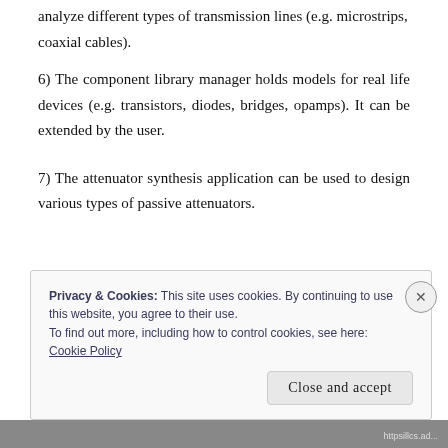analyze different types of transmission lines (e.g. microstrips, coaxial cables).
6)  The component library manager holds models for real life devices (e.g. transistors, diodes, bridges, opamps). It can be extended by the user.
7)  The attenuator synthesis application can be used to design various types of passive attenuators.
Privacy & Cookies: This site uses cookies. By continuing to use this website, you agree to their use.
To find out more, including how to control cookies, see here:
Cookie Policy

Close and accept